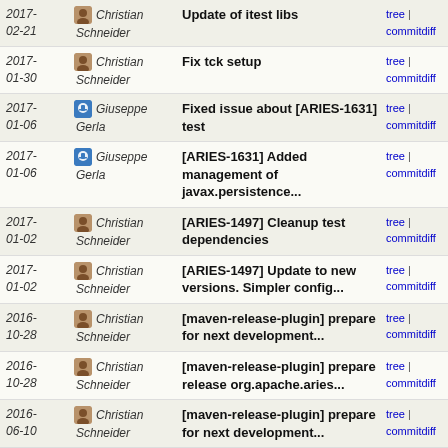2017-02-21 | Christian Schneider | Update of itest libs | tree | commitdiff
2017-01-30 | Christian Schneider | Fix tck setup | tree | commitdiff
2017-01-06 | Giuseppe Gerla | Fixed issue about [ARIES-1631] test | tree | commitdiff
2017-01-06 | Giuseppe Gerla | [ARIES-1631] Added management of javax.persistence... | tree | commitdiff
2017-01-02 | Christian Schneider | [ARIES-1497] Cleanup test dependencies | tree | commitdiff
2017-01-02 | Christian Schneider | [ARIES-1497] Update to new versions. Simpler config... | tree | commitdiff
2016-10-28 | Christian Schneider | [maven-release-plugin] prepare for next development... | tree | commitdiff
2016-10-28 | Christian Schneider | [maven-release-plugin] prepare release org.apache.aries... | tree | commitdiff
2016-06-10 | Christian Schneider | [maven-release-plugin] prepare for next development... | tree | commitdiff
2016-06-10 | Christian Schneider | [maven-release-plugin] prepare release org.apache.aries... | tree | commitdiff
2016-06-10 | Christian Schneider | [ARIES-1569] Fix javadoc creation for release | tree | commitdiff
2016-04-12 | Timothy Ward | [ARIES-1530] Support plugins when using the EclipseLink... | tree | commitdiff
2016-04-?? | Timothy Ward | [ARIES-1524] Allow the EntityManagerFactory Builder... | tree | commitdiff